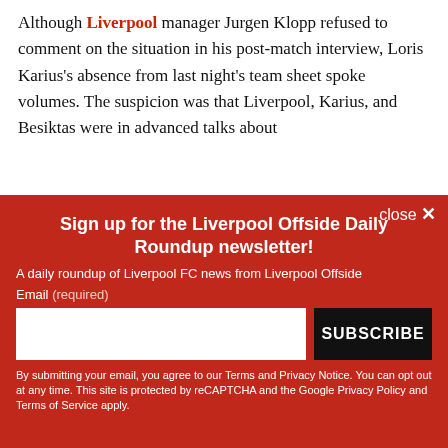Although Liverpool manager Jurgen Klopp refused to comment on the situation in his post-match interview, Loris Karius's absence from last night's team sheet spoke volumes. The suspicion was that Liverpool, Karius, and Besiktas were in advanced talks about
[Figure (other): Newsletter signup modal overlay with red background. Title: 'Sign up for the Liverpool Offside Daily Roundup newsletter!' Subtitle: 'A daily roundup of Liverpool FC news from Liverpool Offside'. Email input field and SUBSCRIBE button. Footer disclaimer text about Terms, Privacy Notice, reCAPTCHA and Google Privacy Policy.]